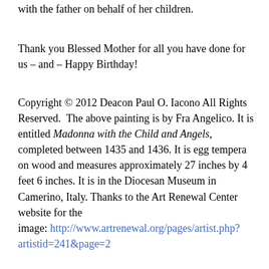with the father on behalf of her children.
Thank you Blessed Mother for all you have done for us – and – Happy Birthday!
Copyright © 2012 Deacon Paul O. Iacono All Rights Reserved.  The above painting is by Fra Angelico. It is entitled Madonna with the Child and Angels, completed between 1435 and 1436. It is egg tempera on wood and measures approximately 27 inches by 4 feet 6 inches. It is in the Diocesan Museum in Camerino, Italy. Thanks to the Art Renewal Center website for the image: http://www.artrenewal.org/pages/artist.php?artistid=241&page=2